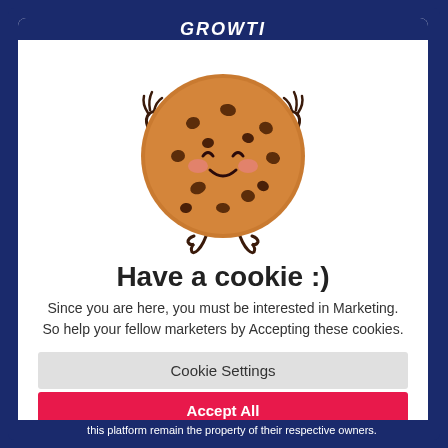GROWTI
[Figure (illustration): Cute cartoon kawaii chocolate chip cookie character with a smiling face, pink cheeks, and arms making peace signs]
Have a cookie :)
Since you are here, you must be interested in Marketing. So help your fellow marketers by Accepting these cookies.
Cookie Settings
Accept All
this platform remain the property of their respective owners.